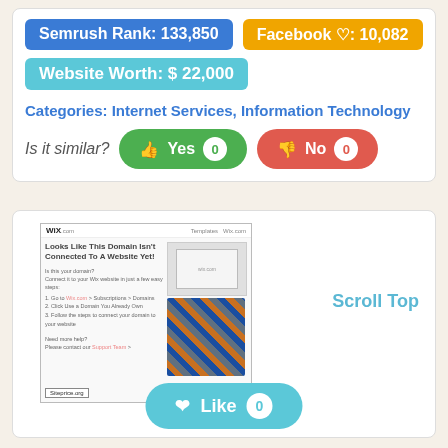Semrush Rank: 133,850
Facebook ♡: 10,082
Website Worth: $ 22,000
Categories: Internet Services, Information Technology
Is it similar? Yes 0  No 0
[Figure (screenshot): Screenshot of a Wix.com domain not connected page with tangled cables image]
Scroll Top
Like 0